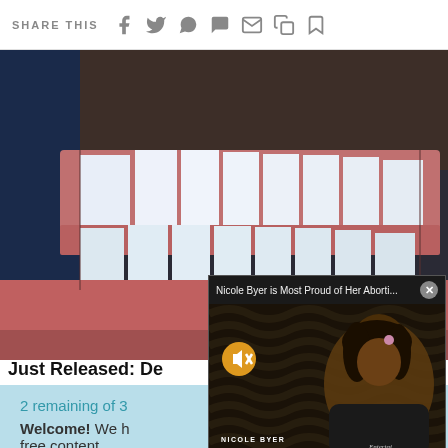SHARE THIS
[Figure (photo): Close-up photo of a person smiling showing white teeth against dark background]
Just Released: De...
2 remaining of 3
Welcome! We h... free content.
[Figure (screenshot): Video popup overlay showing Nicole Byer with title 'Nicole Byer is Most Proud of Her Aborti...' with mute button and Entertainment Weekly logo]